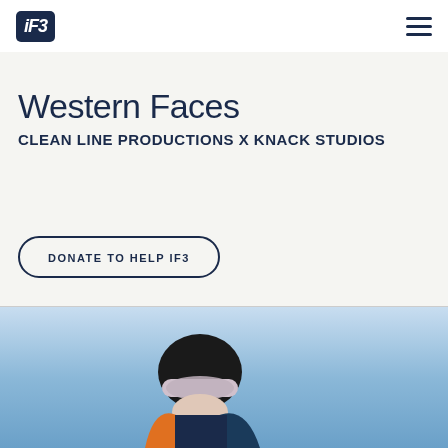iF3
Western Faces
CLEAN LINE PRODUCTIONS X KNACK STUDIOS
DONATE TO HELP IF3
[Figure (photo): Skier wearing black helmet and goggles with orange jacket against a blue sky background, partially cropped at bottom of page]